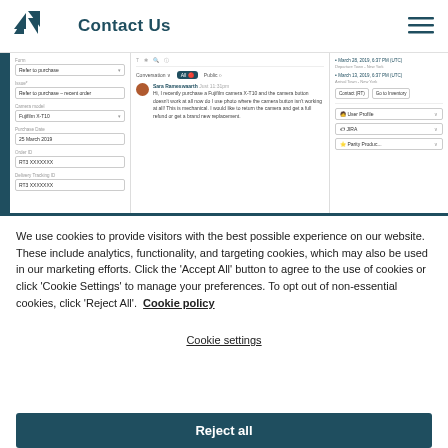Contact Us
[Figure (screenshot): Zendesk customer support interface screenshot showing a ticket with fields for camera model (Fujifilm X-10), purchase date (25 March 2019), order ID (RT3 XXXXXX), delivery tracking ID, conversation panel with a customer message about a Fujifilm camera X-T10 camera button issue requesting refund or replacement, and right panel with dates and user profile dropdowns.]
We use cookies to provide visitors with the best possible experience on our website. These include analytics, functionality, and targeting cookies, which may also be used in our marketing efforts. Click the 'Accept All' button to agree to the use of cookies or click 'Cookie Settings' to manage your preferences. To opt out of non-essential cookies, click 'Reject All'. Cookie policy
Cookie settings
Reject all